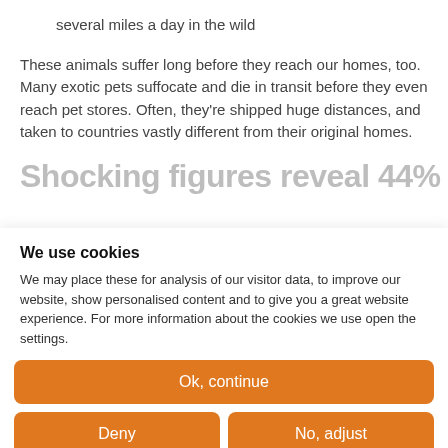several miles a day in the wild
These animals suffer long before they reach our homes, too. Many exotic pets suffocate and die in transit before they even reach pet stores. Often, they're shipped huge distances, and taken to countries vastly different from their original homes.
Shocking figures reveal 44% of
We use cookies
We may place these for analysis of our visitor data, to improve our website, show personalised content and to give you a great website experience. For more information about the cookies we use open the settings.
Ok, continue
Deny
No, adjust